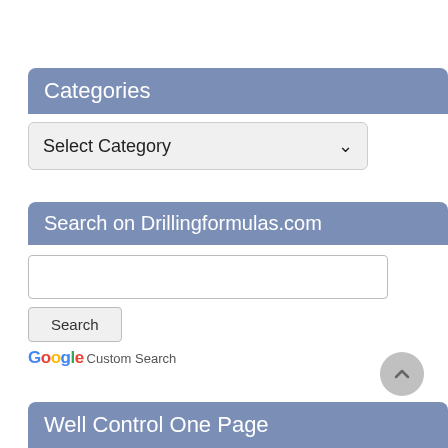Categories
[Figure (screenshot): Dropdown selector showing 'Select Category' with a chevron arrow]
Search on Drillingformulas.com
[Figure (screenshot): Search input box]
[Figure (screenshot): Search button]
Google Custom Search
Well Control One Page